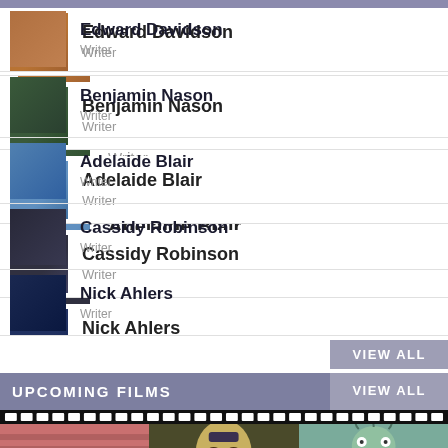Edward Davidson
Writer
Benjamin Nason
Writer
Adelaide Blair
Writer
Cassidy Robinson
Writer
Nick Ahlers
Writer
VIEW ALL
UPCOMING FILMS
VIEW ALL
[Figure (illustration): Film strip with three movie poster illustrations: a pink/red toned group scene, a dark olive caricature portrait, and a green-toned monster illustration]